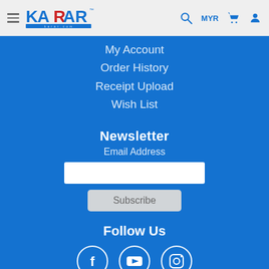[Figure (logo): KARAR logo with brand name in blue and red with tagline below]
My Account
Order History
Receipt Upload
Wish List
Newsletter
Email Address
Follow Us
[Figure (infographic): Social media icons: Facebook, YouTube, Instagram in white circles]